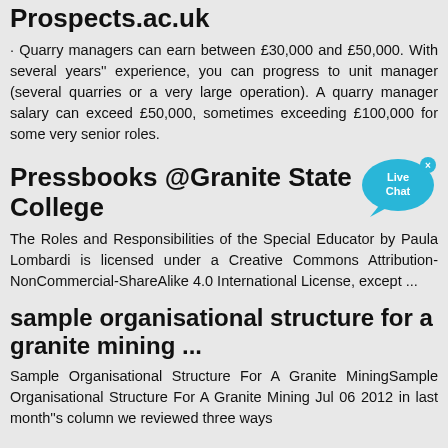Prospects.ac.uk
· Quarry managers can earn between £30,000 and £50,000. With several years'' experience, you can progress to unit manager (several quarries or a very large operation). A quarry manager salary can exceed £50,000, sometimes exceeding £100,000 for some very senior roles.
Pressbooks @Granite State College
[Figure (logo): Live Chat badge - blue speech bubble with 'Live Chat' text and a small x close button]
The Roles and Responsibilities of the Special Educator by Paula Lombardi is licensed under a Creative Commons Attribution-NonCommercial-ShareAlike 4.0 International License, except ...
sample organisational structure for a granite mining ...
Sample Organisational Structure For A Granite MiningSample Organisational Structure For A Granite Mining Jul 06 2012 in last month''s column we reviewed three ways